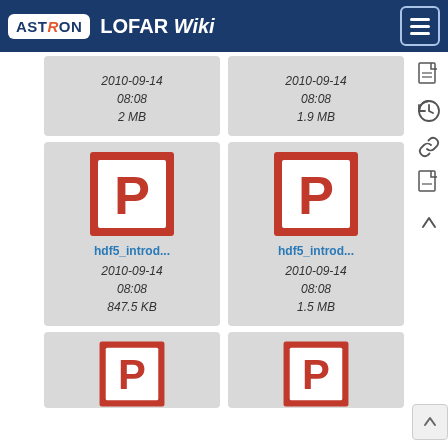ASTRON LOFAR Wiki
[Figure (screenshot): Partial file card row showing two grey cards with date 2010-09-14 08:08 and sizes 2 MB and 1.9 MB]
[Figure (screenshot): File card for hdf5_introd... PowerPoint file, 2010-09-14 08:08, 847.5 KB]
[Figure (screenshot): File card for hdf5_introd... PowerPoint file, 2010-09-14 08:08, 1.5 MB]
[Figure (screenshot): Partial file cards at bottom showing two PowerPoint icons clipped]